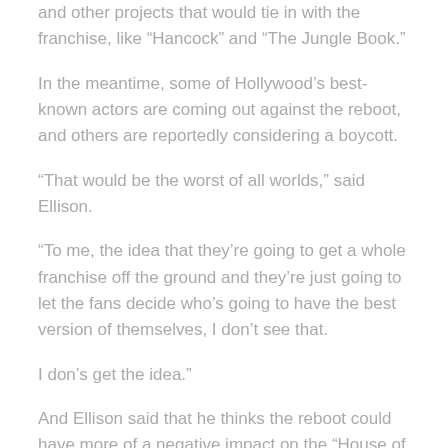and other projects that would tie in with the franchise, like “Hancock” and “The Jungle Book.”
In the meantime, some of Hollywood’s best-known actors are coming out against the reboot, and others are reportedly considering a boycott.
“That would be the worst of all worlds,” said Ellison.
“To me, the idea that they’re going to get a whole franchise off the ground and they’re just going to let the fans decide who’s going to have the best version of themselves, I don’t see that.
I don’s get the idea.”
And Ellison said that he thinks the reboot could have more of a negative impact on the “House of Cards” franchise than it has.